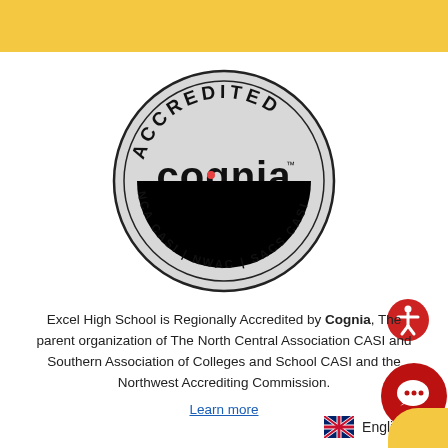[Figure (logo): Cognia Accredited seal — circular grey badge with 'ACCREDITED' arced at top, 'cognia' logo in center with red dot on letter o, 'NCA CASI | NWAC | SACS CASI' arced at bottom]
Excel High School is Regionally Accredited by Cognia, The parent organization of The North Central Association CASI and Southern Association of Colleges and School CASI and the Northwest Accrediting Commission.
Learn more